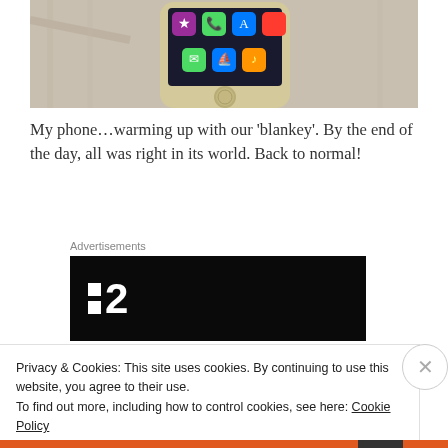[Figure (photo): A smartphone (iPhone) resting on a white/cream knitted blanket, showing the home screen with app icons including iTunes Store, Phone, App Store, Messages, Safari, and Music.]
My phone…warming up with our 'blankey'. By the end of the day, all was right in its world. Back to normal!
Advertisements
[Figure (logo): Advertisement banner with black background showing a logo: two small white squares stacked on the left and a large bold white number '2' on the right.]
Privacy & Cookies: This site uses cookies. By continuing to use this website, you agree to their use.
To find out more, including how to control cookies, see here: Cookie Policy
Close and accept